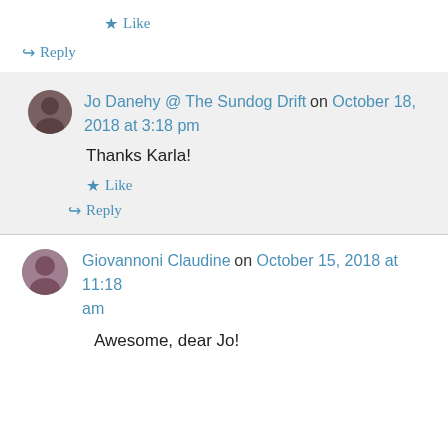★ Like
↪ Reply
Jo Danehy @ The Sundog Drift on October 18, 2018 at 3:18 pm
Thanks Karla!
★ Like
↪ Reply
Giovannoni Claudine on October 15, 2018 at 11:18 am
Awesome, dear Jo!